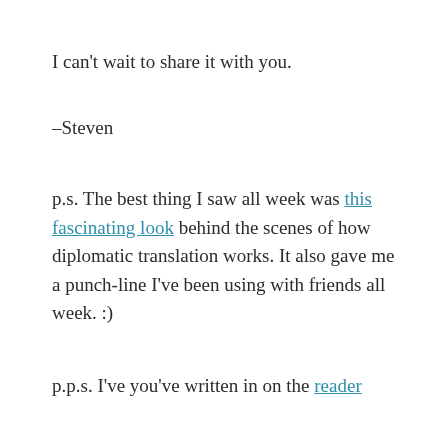I can't wait to share it with you.
-Steven
p.s. The best thing I saw all week was this fascinating look behind the scenes of how diplomatic translation works. It also gave me a punch-line I've been using with friends all week. :)
p.p.s. I've you've written in on the reader